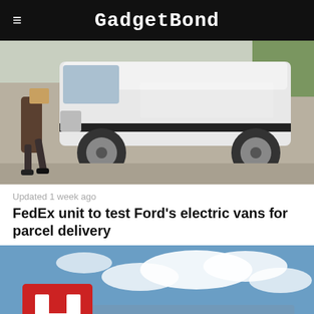GadgetBond
[Figure (photo): A FedEx delivery person walking alongside a white Ford Transit van on a parking lot surface.]
Updated 1 week ago
FedEx unit to test Ford's electric vans for parcel delivery
[Figure (photo): A large red Foxconn logo sign mounted on a building against a blue sky with clouds. The FOXCONN lettering is visible below the H logo.]